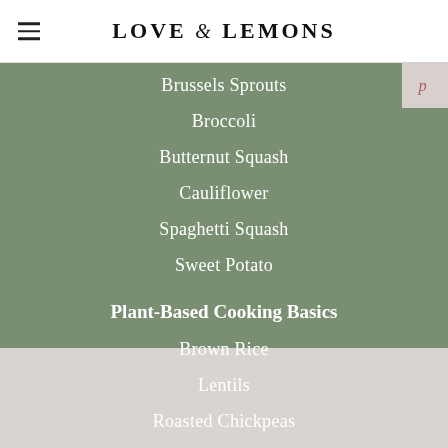LOVE & LEMONS
Brussels Sprouts
Broccoli
Butternut Squash
Cauliflower
Spaghetti Squash
Sweet Potato
Plant-Based Cooking Basics
Brown Rice
Lentils
Roasted Chickpeas
Farro
Tofu
Tempeh
Quinoa